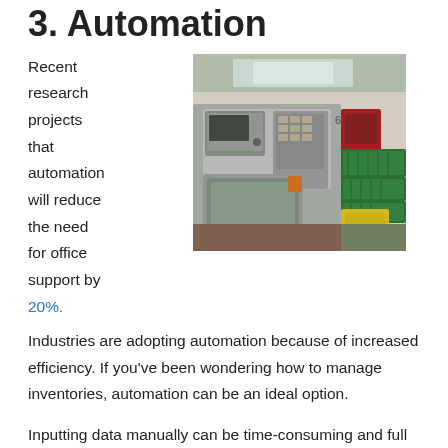3. Automation
Recent research projects that automation will reduce the need for office support by 20%.
[Figure (photo): Industrial automation machinery in a factory setting — a large CNC or lathe machine in the foreground, with stacked green plastic crates and a yellow box in the background, inside a warehouse.]
Industries are adopting automation because of increased efficiency. If you've been wondering how to manage inventories, automation can be an ideal option.
Inputting data manually can be time-consuming and full of errors. The process is repetitive and can be quite